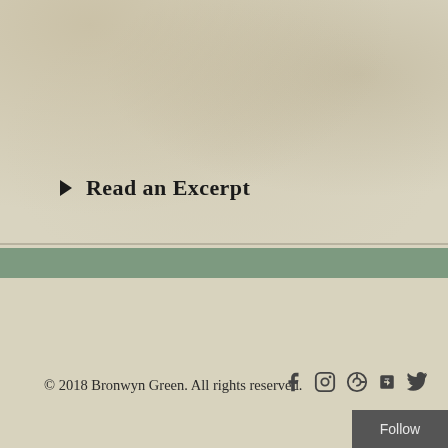▶ Read an Excerpt
Back to top
© 2018 Bronwyn Green. All rights reserved.
Follow